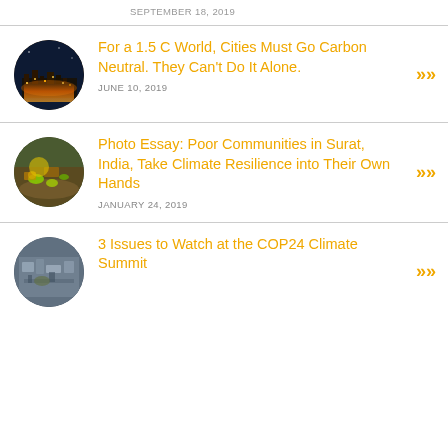SEPTEMBER 18, 2019
For a 1.5 C World, Cities Must Go Carbon Neutral. They Can't Do It Alone.
JUNE 10, 2019
Photo Essay: Poor Communities in Surat, India, Take Climate Resilience into Their Own Hands
JANUARY 24, 2019
3 Issues to Watch at the COP24 Climate Summit